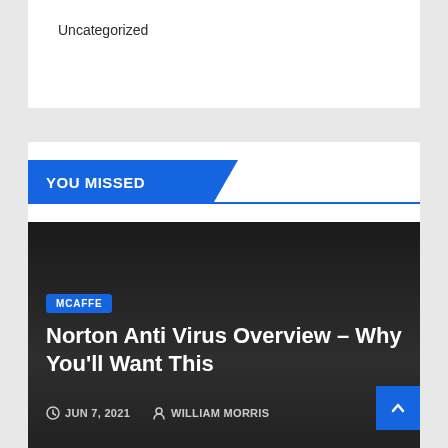Uncategorized
YOU MISSED
MCAFFE
Norton Anti Virus Overview – Why You'll Want This
JUN 7, 2021   WILLIAM MORRIS